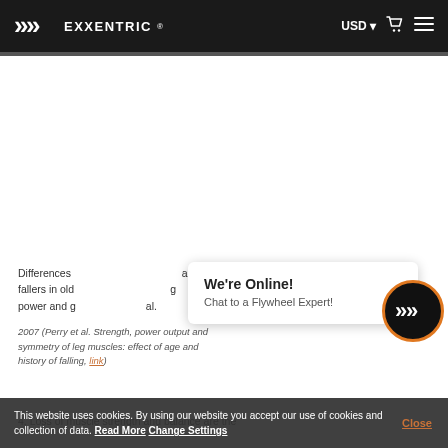EXXENTRIC ® USD [cart] [menu]
Differences and fallers in older adults in muscle strength, power and gait. ...Perry et al.
2007 (Perry et al. Strength, power output and symmetry of leg muscles: effect of age and history of falling, link)
4. Loss of muscle strength and balance are the
[Figure (screenshot): Chat popup: We're Online! Chat to a Flywheel Expert!]
This website uses cookies. By using our website you accept our use of cookies and collection of data. Read More Change Settings  Close